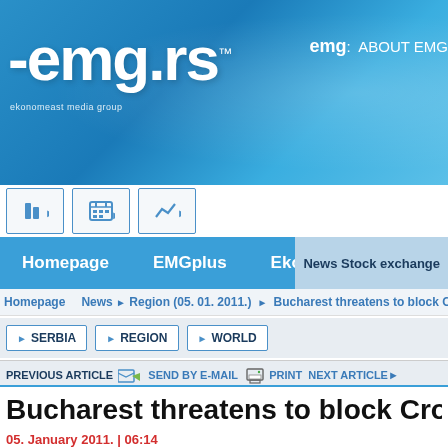[Figure (screenshot): EMG.rs website header with blue gradient banner showing the emg.rs logo and navigation bar]
emg.rs — ekonomeast media group
emg: ABOUT EMG
Homepage   EMGplus   Ekonference   News Stock exchange
Homepage > News > Region (05. 01. 2011.) > Bucharest threatens to block Croatian
SERBIA
REGION
WORLD
PREVIOUS ARTICLE   SEND BY E-MAIL   PRINT   NEXT ARTICLE
Bucharest threatens to block Croatian
05. January 2011. | 06:14
Source: Tanjug
Official Bucharest has threatened to to create problems for Croatia's EU acce